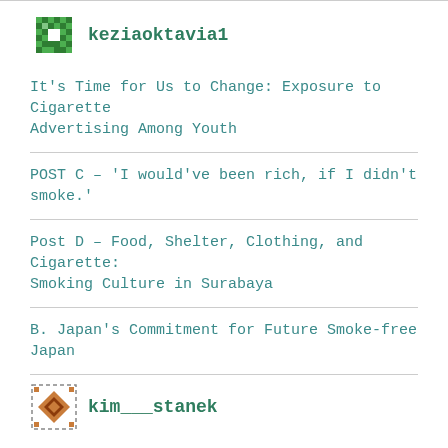keziaoktavia1
It's Time for Us to Change: Exposure to Cigarette Advertising Among Youth
POST C – 'I would've been rich, if I didn't smoke.'
Post D – Food, Shelter, Clothing, and Cigarette: Smoking Culture in Surabaya
B. Japan's Commitment for Future Smoke-free Japan
kim___stanek
Post A – Design in Context
Post D – Indonesian Punk – Punk's Not Dead!
Post C – Primary Research: Education Path…